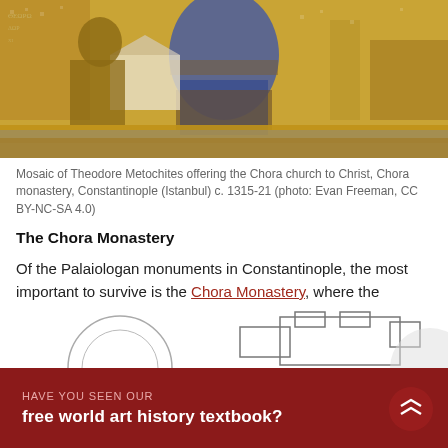[Figure (photo): Mosaic of Theodore Metochites offering the Chora church to Christ, Chora monastery, Constantinople (Istanbul) c. 1315-21. Gold and blue Byzantine mosaic depicting a robed figure presenting a church model to Christ seated on a throne.]
Mosaic of Theodore Metochites offering the Chora church to Christ, Chora monastery, Constantinople (Istanbul) c. 1315-21 (photo: Evan Freeman, CC BY-NC-SA 4.0)
The Chora Monastery
Of the Palaiologan monuments in Constantinople, the most important to survive is the Chora Monastery, where the additions uniquely represent a single phase of construction.
[Figure (illustration): Partial diagrams visible at bottom of page showing a circular diagram and a floor plan outline of the Chora Monastery.]
HAVE YOU SEEN OUR
free world art history textbook?